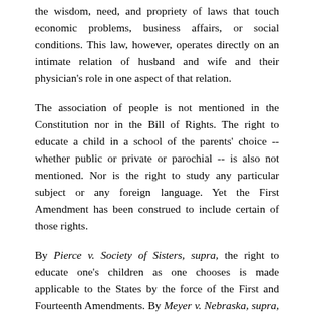the wisdom, need, and propriety of laws that touch economic problems, business affairs, or social conditions. This law, however, operates directly on an intimate relation of husband and wife and their physician's role in one aspect of that relation.
The association of people is not mentioned in the Constitution nor in the Bill of Rights. The right to educate a child in a school of the parents' choice -- whether public or private or parochial -- is also not mentioned. Nor is the right to study any particular subject or any foreign language. Yet the First Amendment has been construed to include certain of those rights.
By Pierce v. Society of Sisters, supra, the right to educate one's children as one chooses is made applicable to the States by the force of the First and Fourteenth Amendments. By Meyer v. Nebraska, supra, the same dignity is given the right to study the German language in a private school to the end that the State...